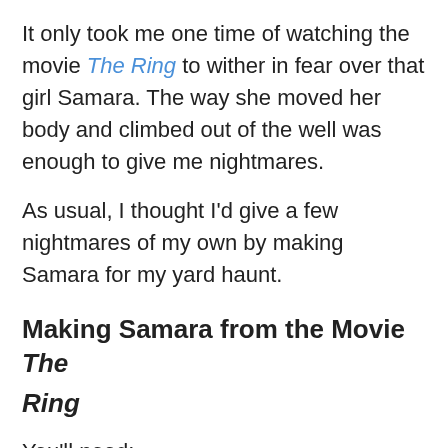It only took me one time of watching the movie The Ring to wither in fear over that girl Samara. The way she moved her body and climbed out of the well was enough to give me nightmares.
As usual, I thought I'd give a few nightmares of my own by making Samara for my yard haunt.
Making Samara from the Movie The Ring
You'll need:
1 Foam Head
1 Long Black Wig
PMS...